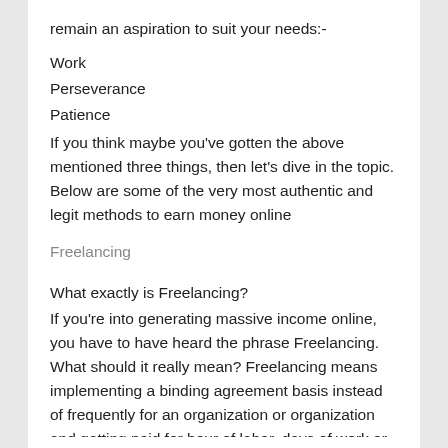remain an aspiration to suit your needs:-
Work
Perseverance
Patience
If you think maybe you've gotten the above mentioned three things, then let's dive in the topic. Below are some of the very most authentic and legit methods to earn money online
Freelancing
What exactly is Freelancing?
If you're into generating massive income online, you have to have heard the phrase Freelancing. What should it really mean? Freelancing means implementing a binding agreement basis instead of frequently for an organization or organization and getting paid for hour of labor, days of work or